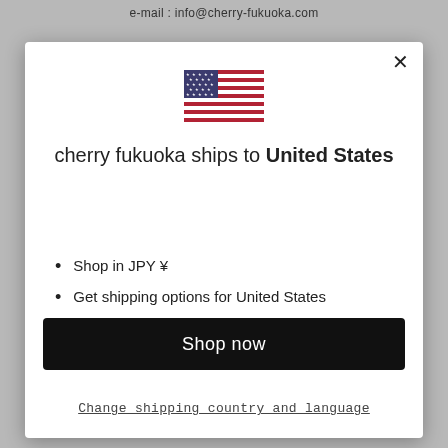e-mail : info@cherry-fukuoka.com
[Figure (illustration): US flag SVG icon]
cherry fukuoka ships to United States
Shop in JPY ¥
Get shipping options for United States
Language set to English
Shop now
Change shipping country and language